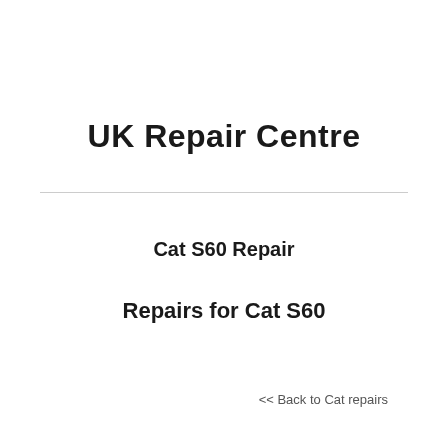UK Repair Centre
Cat S60 Repair
Repairs for Cat S60
<< Back to Cat repairs